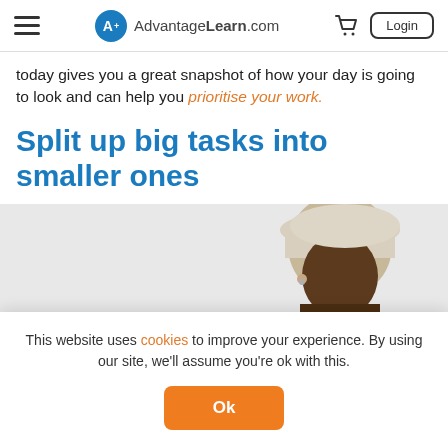AdvantageLearn.com
today gives you a great snapshot of how your day is going to look and can help you prioritise your work.
Split up big tasks into smaller ones
[Figure (photo): Person wearing a beige/cream baseball cap, partially visible, against a light grey background]
This website uses cookies to improve your experience. By using our site, we'll assume you're ok with this.